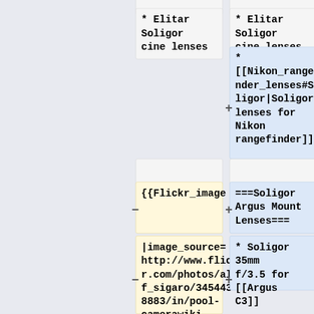* Elitar Soligor cine lenses
* Elitar Soligor cine lenses
* [[Nikon_rangefinder_lenses#Soligor|Soligor lenses for Nikon rangefinder]]
{{Flickr_image
===Soligor Argus Mount Lenses===
|image_source= http://www.flickr.com/photos/alf_sigaro/3454438883/in/pool-camerawiki
* Soligor 35mm f/3.5 for [[Argus C3]]